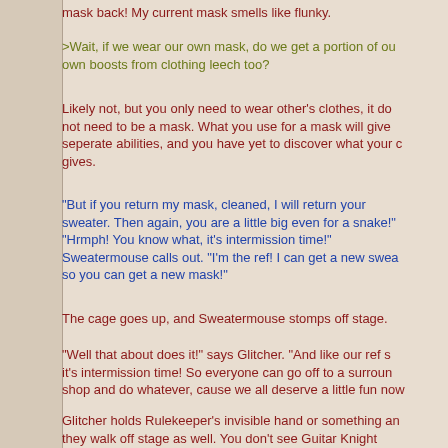mask back! My current mask smells like flunky.
>Wait, if we wear our own mask, do we get a portion of our own boosts from clothing leech too?
Likely not, but you only need to wear other's clothes, it does not need to be a mask. What you use for a mask will give seperate abilities, and you have yet to discover what your current gives.
"But if you return my mask, cleaned, I will return your sweater. Then again, you are a little big even for a snake!" "Hrmph! You know what, it's intermission time!" Sweatermouse calls out. "I'm the ref! I can get a new swea so you can get a new mask!"
The cage goes up, and Sweatermouse stomps off stage.
"Well that about does it!" says Glitcher. "And like our ref s it's intermission time! So everyone can go off to a surroun shop and do whatever, cause we all deserve a little fun now
Glitcher holds Rulekeeper's invisible hand or something an they walk off stage as well. You don't see Guitar Knight anywhere, either, so it's just you, Sevener and Alison on sta